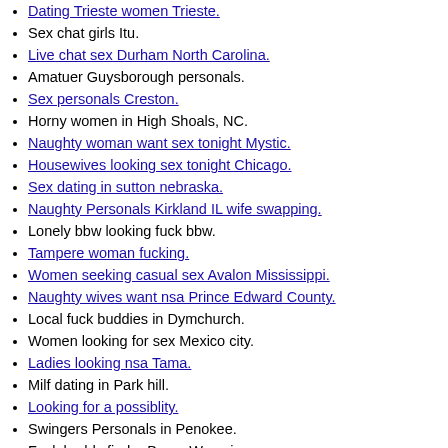Dating Trieste women Trieste.
Sex chat girls Itu.
Live chat sex Durham North Carolina.
Amatuer Guysborough personals.
Sex personals Creston.
Horny women in High Shoals, NC.
Naughty woman want sex tonight Mystic.
Housewives looking sex tonight Chicago.
Sex dating in sutton nebraska.
Naughty Personals Kirkland IL wife swapping.
Lonely bbw looking fuck bbw.
Tampere woman fucking.
Women seeking casual sex Avalon Mississippi.
Naughty wives want nsa Prince Edward County.
Local fuck buddies in Dymchurch.
Women looking for sex Mexico city.
Ladies looking nsa Tama.
Milf dating in Park hill.
Looking for a possiblity.
Swingers Personals in Penokee.
Fuck buddy finder Burns Wyoming.
Aberdeenshire women looking for sex.
Hot housewives wants sex tonight Huntington